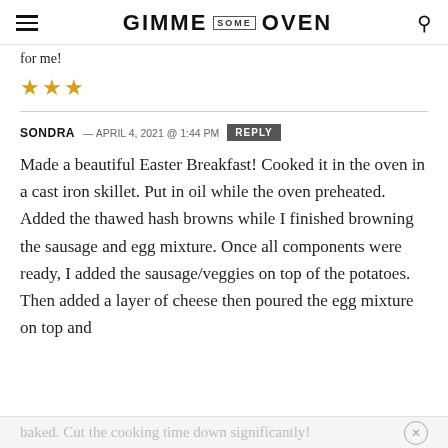GIMME SOME OVEN
for me!
★★★
SONDRA — APRIL 4, 2021 @ 1:44 PM  REPLY
Made a beautiful Easter Breakfast! Cooked it in the oven in a cast iron skillet. Put in oil while the oven preheated. Added the thawed hash browns while I finished browning the sausage and egg mixture. Once all components were ready, I added the sausage/veggies on top of the potatoes. Then added a layer of cheese then poured the egg mixture on top and
baked. Cut the cooking time down significantly!